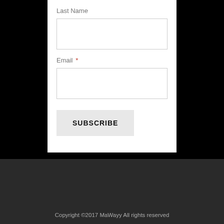Last Name
[Figure (screenshot): Empty text input box for Last Name field]
Email *
[Figure (screenshot): Empty text input box for Email field]
SUBSCRIBE
Copyright ©2017 MaWayy All rights reserved